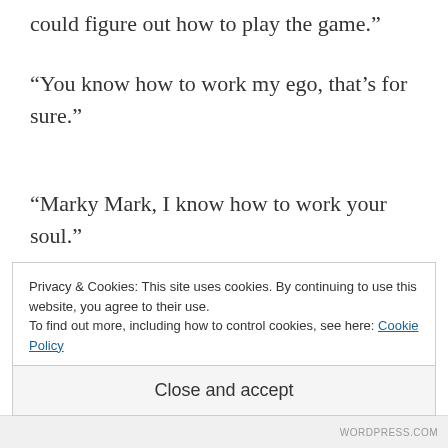could figure out how to play the game.”
“You know how to work my ego, that’s for sure.”
“Marky Mark, I know how to work your soul.”
Mark and Evan stare at one another in mutual fear of the other’s reaction.
Privacy & Cookies: This site uses cookies. By continuing to use this website, you agree to their use.
To find out more, including how to control cookies, see here: Cookie Policy
Close and accept
WORDPRESS.COM